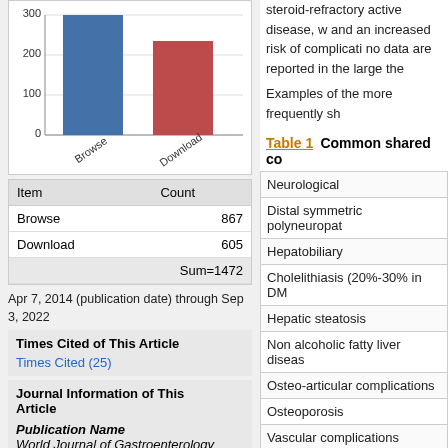[Figure (bar-chart): Browse vs Download]
| Item | Count |
| --- | --- |
| Browse | 867 |
| Download | 605 |
|  | Sum=1472 |
Apr 7, 2014 (publication date) through Sep 3, 2022
Times Cited of This Article
Times Cited (25)
Journal Information of This Article
Publication Name
World Journal of Gastroenterology
ISSN
steroid-refractory active disease, w and an increased risk of complicati no data are reported in the large the Examples of the more frequently sh
Table 1   Common shared co
|  |
| --- |
| Neurological |
| Distal symmetric polyneuropat |
| Hepatobiliary |
| Cholelithiasis (20%-30% in DM |
| Hepatic steatosis |
| Non alcoholic fatty liver diseas |
| Osteo-articular complications |
| Osteoporosis |
| Vascular complications |
| Venous thrombosis (with ketoa |
| Post-operative complications |
| Anastomotic dehiscence |